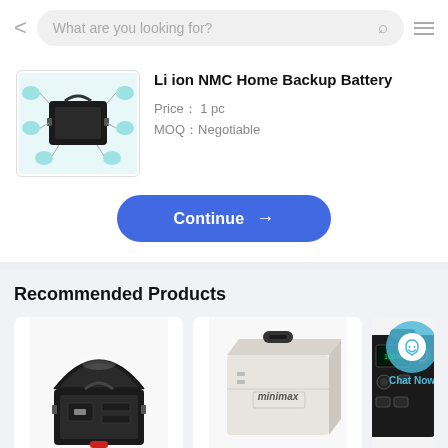What are you looking for?
Li ion NMC Home Backup Battery
Price： 1 pc
MOQ：Negotiable
Continue →
Recommended Products
[Figure (photo): Black hard case battery product open view]
[Figure (photo): White portable battery box with Minimax branding]
[Figure (photo): Portable power station with control panel, partially visible]